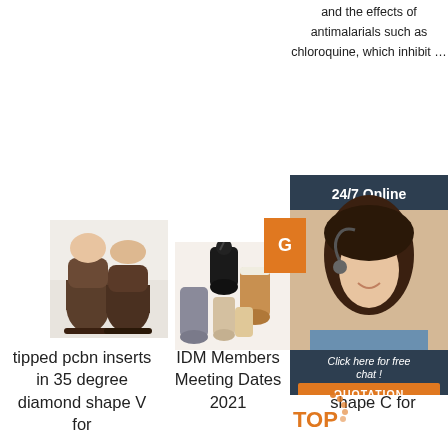and the effects of antimalarials such as chloroquine, which inhibit …
[Figure (infographic): 24/7 Online chat widget with woman wearing headset, orange button partially visible, 'Click here for free chat!' text and QUOTATION button]
[Figure (photo): Brown suede boots/slippers on white fur]
[Figure (photo): Collection of UGG-style boots in various colors on white background]
[Figure (photo): Grey boots/slippers on white surface]
tipped pcbn inserts in 35 degree diamond shape V for
IDM Members Meeting Dates 2021
tipped pcd inserts in 80 degree diamond shape C for